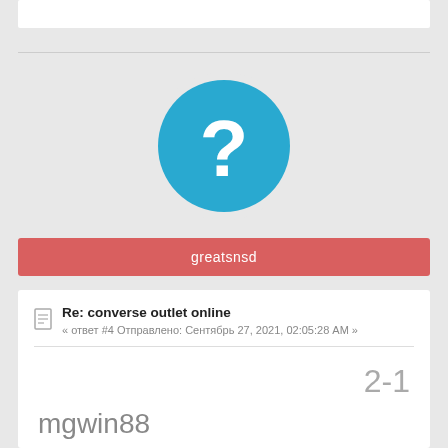[Figure (illustration): Blue circle with white question mark — default user avatar placeholder]
greatsnsd
Re: converse outlet online
« ответ #4 Отправлено: Сентябрь 27, 2021, 02:05:28 AM »
2-1
mgwin88